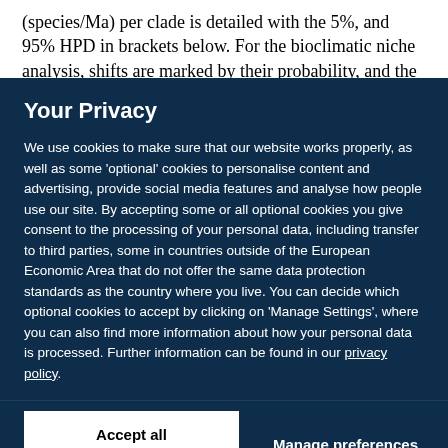(species/Ma) per clade is detailed with the 5%, and 95% HPD in brackets below. For the bioclimatic niche analysis, shifts are marked by their probability, and the
Your Privacy
We use cookies to make sure that our website works properly, as well as some 'optional' cookies to personalise content and advertising, provide social media features and analyse how people use our site. By accepting some or all optional cookies you give consent to the processing of your personal data, including transfer to third parties, some in countries outside of the European Economic Area that do not offer the same data protection standards as the country where you live. You can decide which optional cookies to accept by clicking on 'Manage Settings', where you can also find more information about how your personal data is processed. Further information can be found in our privacy policy.
Accept all cookies
Manage preferences